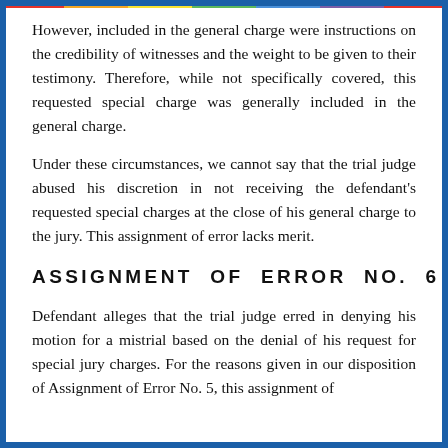However, included in the general charge were instructions on the credibility of witnesses and the weight to be given to their testimony. Therefore, while not specifically covered, this requested special charge was generally included in the general charge.
Under these circumstances, we cannot say that the trial judge abused his discretion in not receiving the defendant's requested special charges at the close of his general charge to the jury. This assignment of error lacks merit.
ASSIGNMENT OF ERROR NO. 6
Defendant alleges that the trial judge erred in denying his motion for a mistrial based on the denial of his request for special jury charges. For the reasons given in our disposition of Assignment of Error No. 5, this assignment of